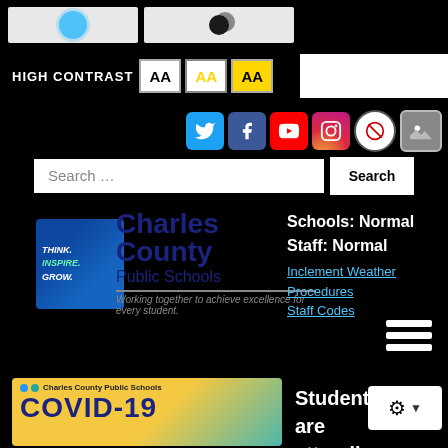[Figure (screenshot): Top accessibility toolbar with sun/moon contrast buttons]
HIGH CONTRAST  AA  AA  AA
[Figure (screenshot): Social media icons: Twitter, Facebook, YouTube, Instagram, and two more]
Search ...
[Figure (logo): Charles County Public Schools logo with Think Inspire Grow badge]
Charles County Public Schools
Working together to achieve excellence for every student.
Schools: Normal
Staff: Normal
Inclement Weather Procedures
Staff Codes
[Figure (screenshot): Hamburger menu icon (three white lines)]
[Figure (screenshot): Charles County Public Schools COVID-19 banner]
Students
are
attending